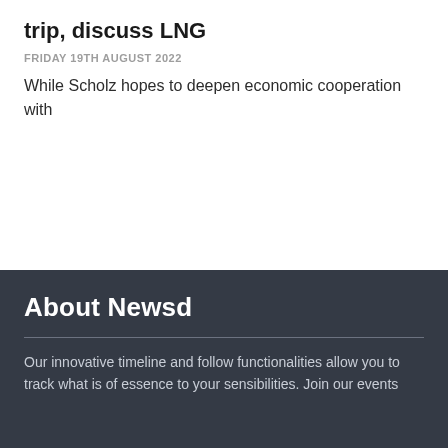trip, discuss LNG
FRIDAY 19TH AUGUST 2022
While Scholz hopes to deepen economic cooperation with
About Newsd
Our innovative timeline and follow functionalities allow you to track what is of essence to your sensibilities. Join our events